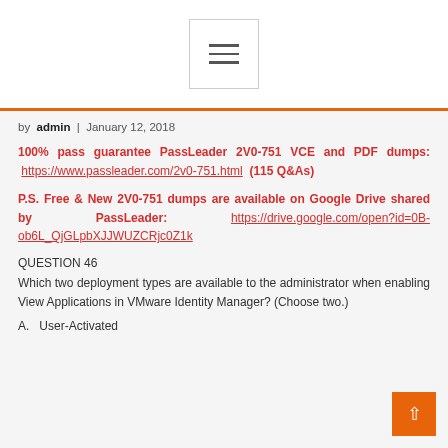[Figure (other): Hamburger menu button icon with three horizontal lines inside a bordered square]
by admin | January 12, 2018
100% pass guarantee PassLeader 2V0-751 VCE and PDF dumps: https://www.passleader.com/2v0-751.html (115 Q&As)
P.S. Free & New 2V0-751 dumps are available on Google Drive shared by PassLeader: https://drive.google.com/open?id=0B-ob6L_QjGLpbXJJWUZCRjc0Z1k
QUESTION 46
Which two deployment types are available to the administrator when enabling View Applications in VMware Identity Manager? (Choose two.)
A. User-Activated